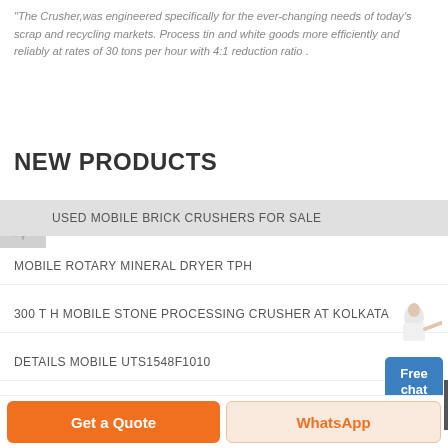"The Crusher,was engineered specifically for the ever-changing needs of today's scrap and recycling markets. Process tin and white goods more efficiently and reliably at rates of 30 tons per hour with 4:1 reduction ratio .
NEW PRODUCTS
USED MOBILE BRICK CRUSHERS FOR SALE
MOBILE ROTARY MINERAL DRYER TPH
300 T H MOBILE STONE PROCESSING CRUSHER AT KOLKATA
DETAILS MOBILE UTS1548F1010
CRUSHER MOBILE AYAKAN
CHROME LEAD ORE MOBILE CRUSHING STATION PRICE
[Figure (illustration): Free chat widget with a person pointing and a blue button saying Free chat]
[Figure (illustration): Dark scroll-to-top button with upward chevron arrow]
Get a Quote
WhatsApp